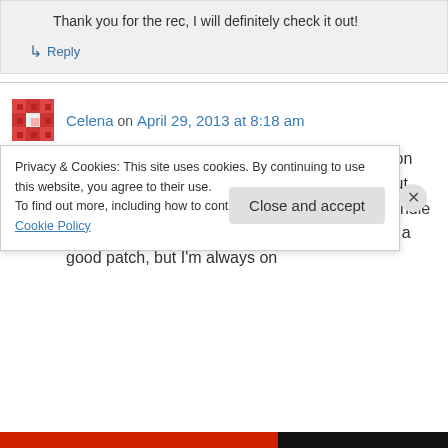Thank you for the rec, I will definitely check it out!
↳ Reply
Celena on April 29, 2013 at 8:18 am
🙁 I totally feel your pain! I have a 3 year old son too, and some days I'm in tears and ready to put him to bed right after supper because I can't handle him anymore. Lately we've been going through a good patch, but I'm always on
Privacy & Cookies: This site uses cookies. By continuing to use this website, you agree to their use. To find out more, including how to control cookies, see here: Cookie Policy
Close and accept